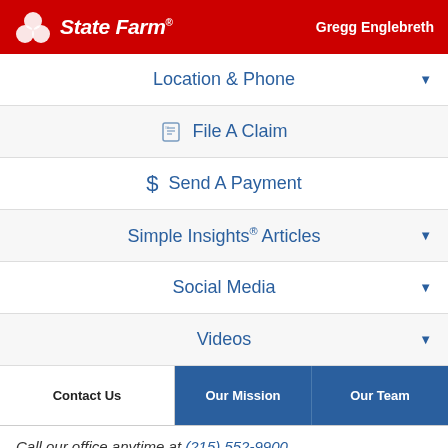State Farm — Gregg Englebreth
Location & Phone
File A Claim
Send A Payment
Simple Insights® Articles
Social Media
Videos
Contact Us | Our Mission | Our Team
Call our office anytime at (215) 552-9900
How should we contact you?